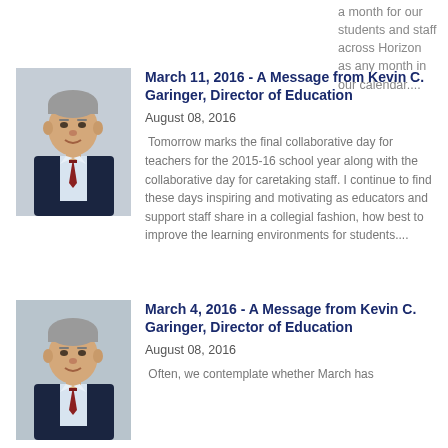a month for our students and staff across Horizon as any month in our calendar....
[Figure (photo): Professional headshot of Kevin C. Garinger, a middle-aged man in a dark suit with a tie, against a light background.]
March 11, 2016 - A Message from Kevin C. Garinger, Director of Education
August 08, 2016
Tomorrow marks the final collaborative day for teachers for the 2015-16 school year along with the collaborative day for caretaking staff. I continue to find these days inspiring and motivating as educators and support staff share in a collegial fashion, how best to improve the learning environments for students....
[Figure (photo): Professional headshot of Kevin C. Garinger, same photo, slightly different crop.]
March 4, 2016 - A Message from Kevin C. Garinger, Director of Education
August 08, 2016
Often, we contemplate whether March has